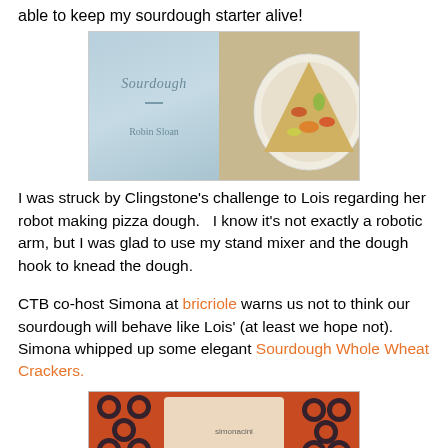able to keep my sourdough starter alive!
[Figure (photo): A photo showing a copy of the book 'Sourdough' by Robin Sloan next to a plate with a slice of vegetable pizza.]
I was struck by Clingstone's challenge to Lois regarding her robot making pizza dough.   I know it's not exactly a robotic arm, but I was glad to use my stand mixer and the dough hook to knead the dough.
CTB co-host Simona at bricriole warns us not to think our sourdough will behave like Lois' (at least we hope not). Simona whipped up some elegant Sourdough Whole Wheat Crackers.
[Figure (photo): A photo of sourdough whole wheat crackers on a decorative orange and black patterned surface with a watermark 'simonacini'.]